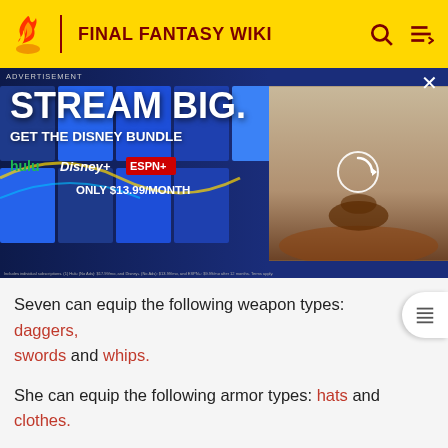FINAL FANTASY WIKI
[Figure (screenshot): Advertisement banner for Disney Bundle streaming service. Shows 'STREAM BIG. GET THE DISNEY BUNDLE' with Hulu, Disney+, and ESPN+ logos. ONLY $13.99/MONTH. Blue movie poster collage background with a video thumbnail on the right showing a person in a desert scene.]
Seven can equip the following weapon types: daggers, swords and whips.
She can equip the following armor types: hats and clothes.
She can equip accessories.
Seven has an unit-exclusive materias, available during the...